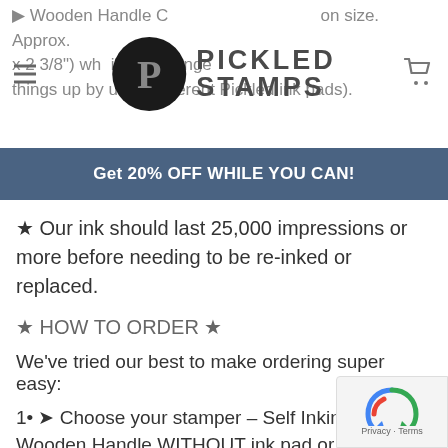Pickled Stamps - navigation header with logo
▶ Wooden Handle Cushion size. Approx. x 2 3/8") who like to change things up by using different Pickled ink pads).
Get 20% OFF WHILE YOU CAN!
★ Our ink should last 25,000 impressions or more before needing to be re-inked or replaced.
★ HOW TO ORDER ★
We've tried our best to make ordering super easy:
1• ➤ Choose your stamper – Self Inking, Wooden Handle WITHOUT ink pad or Wooden Handle WITH ink pad
2• ➤ Choose your design – Select the design you want from the drop-down menu